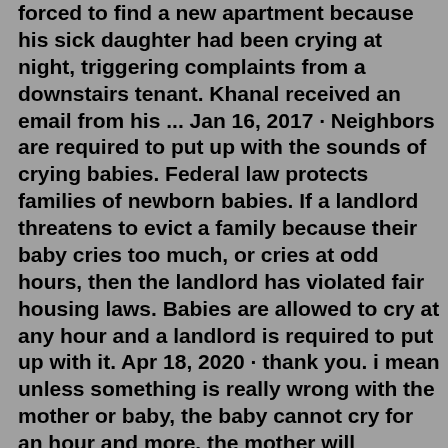forced to find a new apartment because his sick daughter had been crying at night, triggering complaints from a downstairs tenant. Khanal received an email from his ... Jan 16, 2017 · Neighbors are required to put up with the sounds of crying babies. Federal law protects families of newborn babies. If a landlord threatens to evict a family because their baby cries too much, or cries at odd hours, then the landlord has violated fair housing laws. Babies are allowed to cry at any hour and a landlord is required to put up with it. Apr 18, 2020 · thank you. i mean unless something is really wrong with the mother or baby, the baby cannot cry for an hour and more. the mother will definately address the baby's concern within minutes. so the neighbours can definately tolerate that or suck it up. i live in a apartment and the least i can do is notify my direct neighbours of my baby's presence. but that is basically it. 1:45 passes. It sounds like the child has not moved from the spot it was in and is just crying